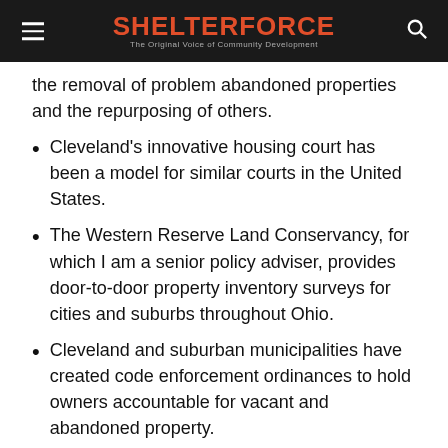SHELTERFORCE — The Original Voice of Community Development
the removal of problem abandoned properties and the repurposing of others.
Cleveland's innovative housing court has been a model for similar courts in the United States.
The Western Reserve Land Conservancy, for which I am a senior policy adviser, provides door-to-door property inventory surveys for cities and suburbs throughout Ohio.
Cleveland and suburban municipalities have created code enforcement ordinances to hold owners accountable for vacant and abandoned property.
The Cuyahoga County treasurer and prosecutor are collaborating to efficiently move tax-delinquent vacant properties to the County Land Bank for removal and repurposing.